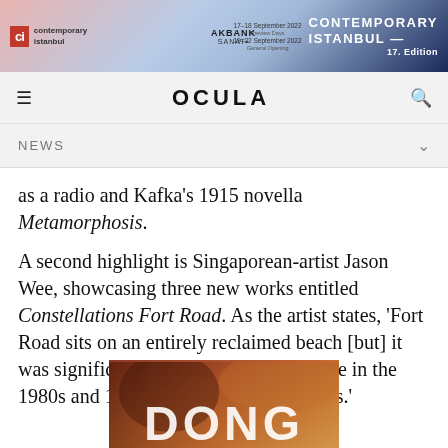[Figure (other): Contemporary Istanbul art fair banner advertisement with CI logo, AKBANK SANAT branding, dates 17-18 September 2022 and 19-22 September 2022, 17th Edition]
OCULA
NEWS
as a radio and Kafka's 1915 novella Metamorphosis.
A second highlight is Singaporean-artist Jason Wee, showcasing three new works entitled Constellations Fort Road. As the artist states, 'Fort Road sits on an entirely reclaimed beach [but] it was significant for gay men in Singapore in the 1980s and 1990s as a utopian wilderness.'
[Figure (photo): Partial photograph of artwork with text overlay showing letters in white on a warm orange/brown background]